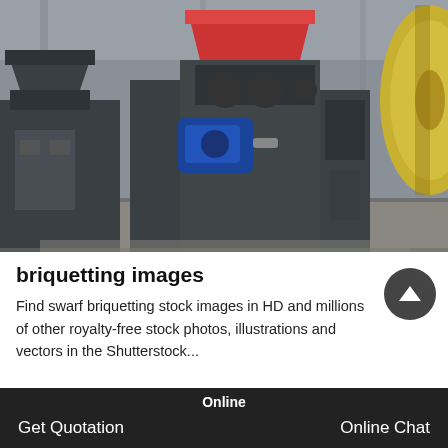[Figure (photo): Industrial briquetting machines in a warehouse/factory setting. Multiple large dark-grey machines with hoppers on top, a blue electric motor visible in the center machine, and a large yellow flywheel on the right side. Concrete floor visible.]
briquetting images
Find swarf briquetting stock images in HD and millions of other royalty-free stock photos, illustrations and vectors in the Shutterstock...
Online  |  Get Quotation  |  Online Chat